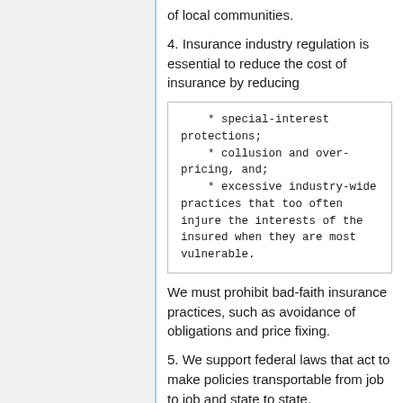of local communities.
4. Insurance industry regulation is essential to reduce the cost of insurance by reducing
* special-interest protections;
    * collusion and over-pricing, and;
    * excessive industry-wide practices that too often injure the interests of the insured when they are most vulnerable.
We must prohibit bad-faith insurance practices, such as avoidance of obligations and price fixing.
5. We support federal laws that act to make policies transportable from job to job and state to state.